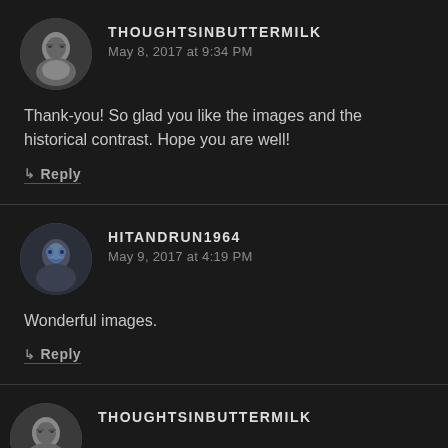[Figure (photo): Avatar of thoughtsinbuttermilk user, black and white photo of person with glasses]
THOUGHTSINBUTTERMILK
May 8, 2017 at 9:34 PM
Thank-you! So glad you like the images and the historical contrast. Hope you are well!
↳ Reply
[Figure (photo): Avatar of hitandrun1964 user, face with blue paint makeup]
HITANDRUN1964
May 9, 2017 at 4:19 PM
Wonderful images.
↳ Reply
[Figure (photo): Avatar of thoughtsinbuttermilk user, black and white photo (partial, bottom of page)]
THOUGHTSINBUTTERMILK